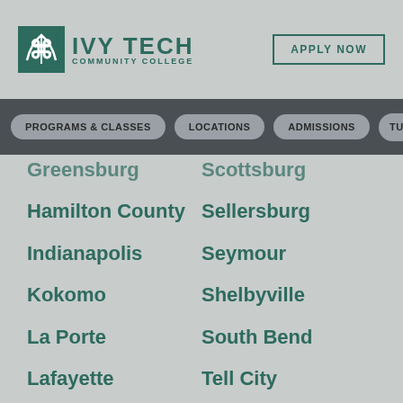Ivy Tech Community College — Apply Now
PROGRAMS & CLASSES
LOCATIONS
ADMISSIONS
TUITION
Greensburg
Scottsburg
Hamilton County
Sellersburg
Indianapolis
Seymour
Kokomo
Shelbyville
La Porte
South Bend
Lafayette
Tell City
Lake County
Terre Haute
Lawrence
Valparaiso
Lawrenceburg
Warsaw